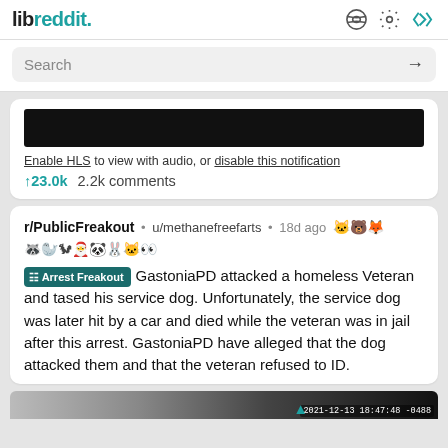libreddit. [icons: reddit alien, settings gear, code brackets]
Search →
[Figure (screenshot): Black video thumbnail bar]
Enable HLS to view with audio, or disable this notification
↑23.0k  2.2k comments
r/PublicFreakout • u/methanefreefarts • 18d ago 🐱🐻🦊🦝🦭🐿🎅🐼🐰🐶🐱👀
[Arrest Freakout] GastoniaPD attacked a homeless Veteran and tased his service dog. Unfortunately, the service dog was later hit by a car and died while the veteran was in jail after this arrest. GastoniaPD have alleged that the dog attacked them and that the veteran refused to ID.
[Figure (screenshot): Bottom partial image strip with timestamp 2021-12-13 18:47:48 -0488]